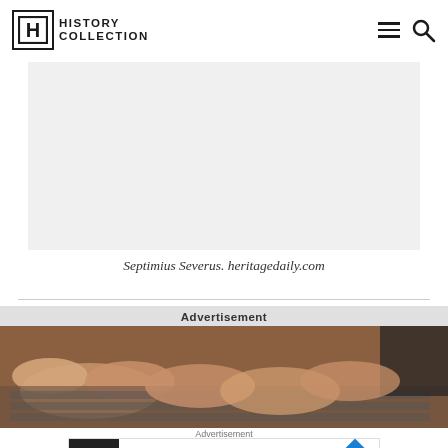History Collection
[Figure (photo): Gray placeholder image area for Septimius Severus photo]
Septimius Severus. heritagedaily.com
Advertisement
[Figure (photo): Photo of hands typing on a laptop keyboard]
Advertisement
[Figure (screenshot): Crumbl Cookies advertisement banner with logo, text 'Crumbl Cookies™' and 'Crumbl Cookies - Ashburn', with a blue diamond arrow icon]